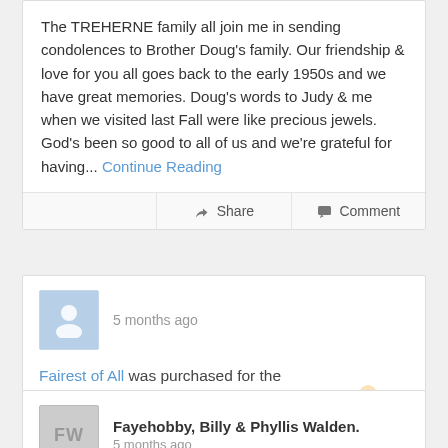The TREHERNE family all join me in sending condolences to Brother Doug's family. Our friendship & love for you all goes back to the early 1950s and we have great memories. Doug's words to Judy & me when we visited last Fall were like precious jewels. God's been so good to all of us and we're grateful for having... Continue Reading
Share  Comment
5 months ago
Fairest of All was purchased for the family of Robert Douglas Bartlett.
[Figure (photo): Flower basket with colorful mixed flowers and greenery]
Fayehobby, Billy & Phyllis Walden.
5 months ago
Fayehobby, Billy & Phyllis Walden...
[Figure (photo): Partial flower arrangement visible at bottom right]